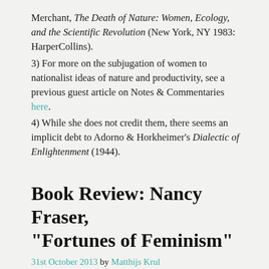Merchant, The Death of Nature: Women, Ecology, and the Scientific Revolution (New York, NY 1983: HarperCollins).
3) For more on the subjugation of women to nationalist ideas of nature and productivity, see a previous guest article on Notes & Commentaries here.
4) While she does not credit them, there seems an implicit debt to Adorno & Horkheimer's Dialectic of Enlightenment (1944).
Book Review: Nancy Fraser, “Fortunes of Feminism”
31st October 2013 by Matthijs Krul